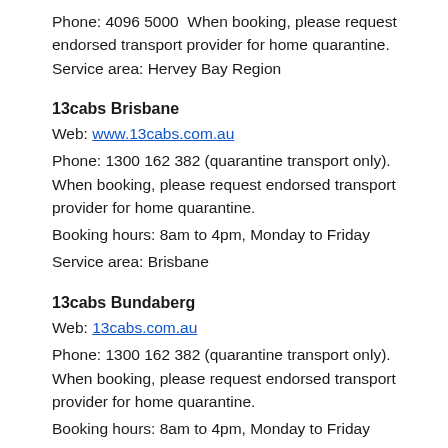Phone: 4096 5000  When booking, please request endorsed transport provider for home quarantine. Service area: Hervey Bay Region
13cabs Brisbane
Web: www.13cabs.com.au
Phone: 1300 162 382 (quarantine transport only). When booking, please request endorsed transport provider for home quarantine.
Booking hours: 8am to 4pm, Monday to Friday
Service area: Brisbane
13cabs Bundaberg
Web: 13cabs.com.au
Phone: 1300 162 382 (quarantine transport only). When booking, please request endorsed transport provider for home quarantine.
Booking hours: 8am to 4pm, Monday to Friday
Service area: Bundaberg
13cabs Gold Coast